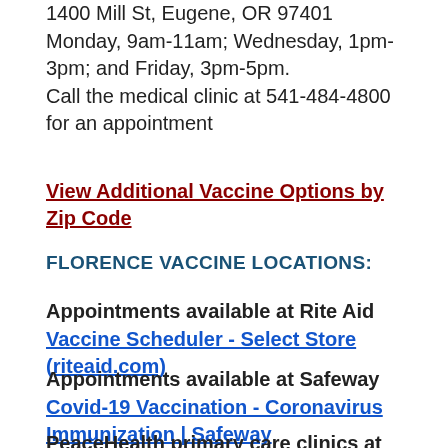1400 Mill St, Eugene, OR 97401
Monday, 9am-11am; Wednesday, 1pm-3pm; and Friday, 3pm-5pm.
Call the medical clinic at 541-484-4800 for an appointment
View Additional Vaccine Options by Zip Code
FLORENCE VACCINE LOCATIONS:
Appointments available at Rite Aid  Vaccine Scheduler - Select Store (riteaid.com)
Appointments available at Safeway Covid-19 Vaccination - Coronavirus Immunization | Safeway
PeaceHealth primary care clinics at PeaceHarbor, 400 Ninth St, Florence, OR 97439 541-997-7182 ...